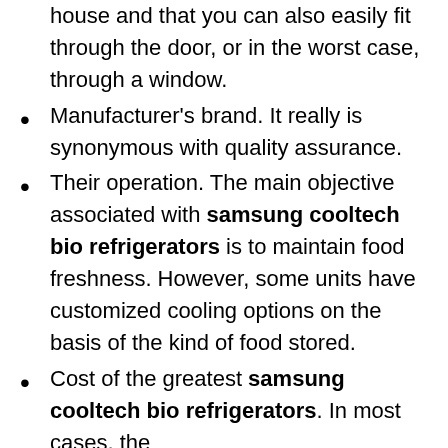house and that you can also easily fit through the door, or in the worst case, through a window.
Manufacturer's brand. It really is synonymous with quality assurance.
Their operation. The main objective associated with samsung cooltech bio refrigerators is to maintain food freshness. However, some units have customized cooling options on the basis of the kind of food stored.
Cost of the greatest samsung cooltech bio refrigerators. In most cases, the